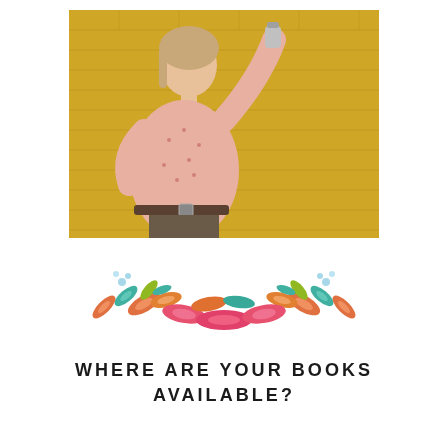[Figure (photo): A young woman with blonde hair in a pink patterned blouse with arms raised, holding what appears to a can or bottle, posing in front of a yellow painted brick wall.]
[Figure (illustration): A decorative floral/feather wreath or banner illustration with colorful feathers and leaves in orange, teal, pink, and green colors arranged in a curved symmetrical pattern.]
WHERE ARE YOUR BOOKS AVAILABLE?